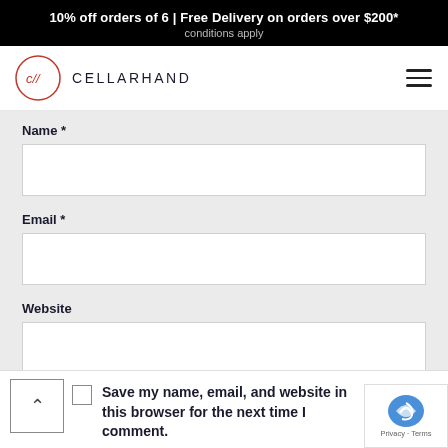10% off orders of 6 | Free Delivery on orders over $200*
conditions apply
[Figure (logo): Cellarhand logo: circle with stylized 'c//' inside, followed by brand name CELLARHAND in spaced caps]
Name *
Email *
Website
Save my name, email, and website in this browser for the next time I comment.